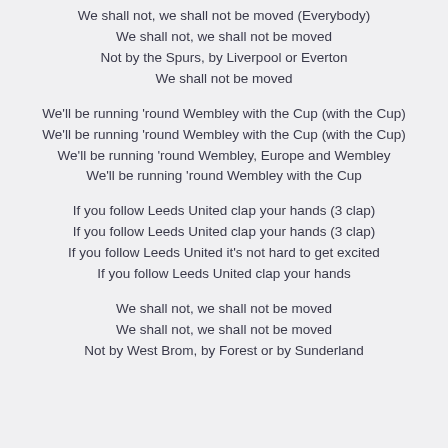We shall not, we shall not be moved (Everybody)
We shall not, we shall not be moved
Not by the Spurs, by Liverpool or Everton
We shall not be moved
We'll be running 'round Wembley with the Cup (with the Cup)
We'll be running 'round Wembley with the Cup (with the Cup)
We'll be running 'round Wembley, Europe and Wembley
We'll be running 'round Wembley with the Cup
If you follow Leeds United clap your hands (3 clap)
If you follow Leeds United clap your hands (3 clap)
If you follow Leeds United it's not hard to get excited
If you follow Leeds United clap your hands
We shall not, we shall not be moved
We shall not, we shall not be moved
Not by West Brom, by Forest or by Sunderland